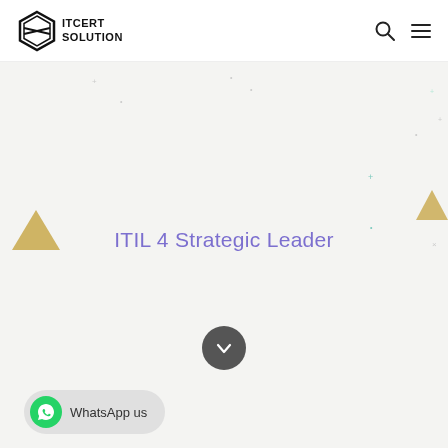ITCERT SOLUTION — navigation header with logo, search icon, and menu icon
ITIL 4 Strategic Leader
[Figure (illustration): Decorative background with small dots, small crosses, and yellow/teal triangles on a light grey background]
[Figure (other): Dark circular button with a downward arrow icon]
[Figure (other): WhatsApp us button with green WhatsApp icon on the left and grey pill-shaped background]